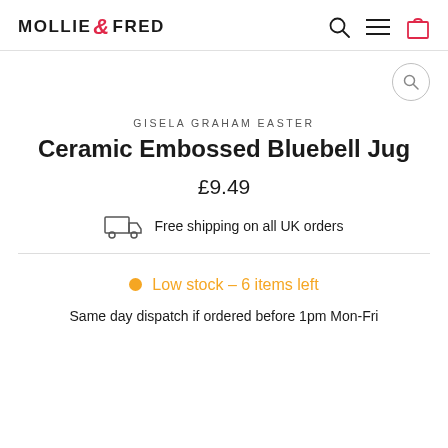MOLLIE & FRED
GISELA GRAHAM EASTER
Ceramic Embossed Bluebell Jug
£9.49
Free shipping on all UK orders
Low stock – 6 items left
Same day dispatch if ordered before 1pm Mon-Fri